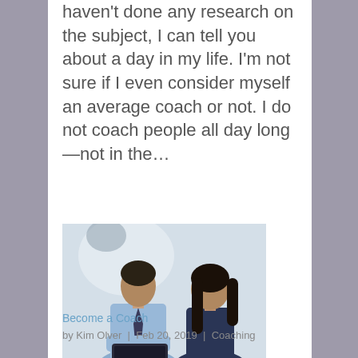haven't done any research on the subject, I can tell you about a day in my life. I'm not sure if I even consider myself an average coach or not. I do not coach people all day long—not in the...
[Figure (photo): Two people in a coaching or mentoring session: a man in a blue shirt and dark tie looking at a tablet or clipboard, and a woman with long dark hair in a navy top sitting beside him.]
Become a Coach
by Kim Olver  |  Feb 20, 2019  |  Coaching